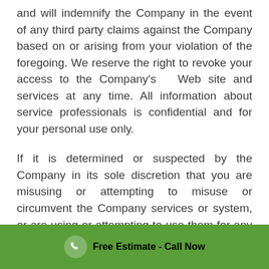and will indemnify the Company in the event of any third party claims against the Company based on or arising from your violation of the foregoing. We reserve the right to revoke your access to the Company's Web site and services at any time. All information about service professionals is confidential and for your personal use only.
If it is determined or suspected by the Company in its sole discretion that you are misusing or attempting to misuse or circumvent the Company services or system, or are using or attempting to use them for any inappropriate, non-personal, or commercial purposes,
Free Estimate - Call Now